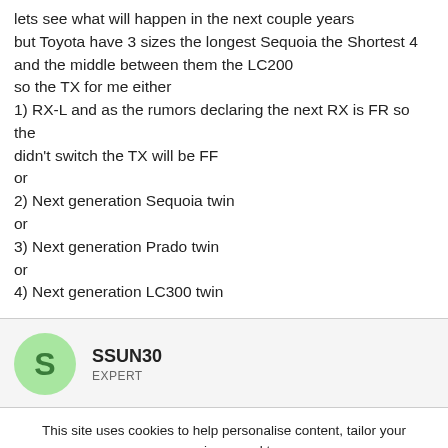lets see what will happen in the next couple years but Toyota have 3 sizes the longest Sequoia the Shortest 4 and the middle between them the LC200 so the TX for me either 1) RX-L and as the rumors declaring the next RX is FR so the didn't switch the TX will be FF or 2) Next generation Sequoia twin or 3) Next generation Prado twin or 4) Next generation LC300 twin
SSUN30 EXPERT
This site uses cookies to help personalise content, tailor your experience and to keep you logged in if you register. By continuing to use this site, you are consenting to our use of cookies.